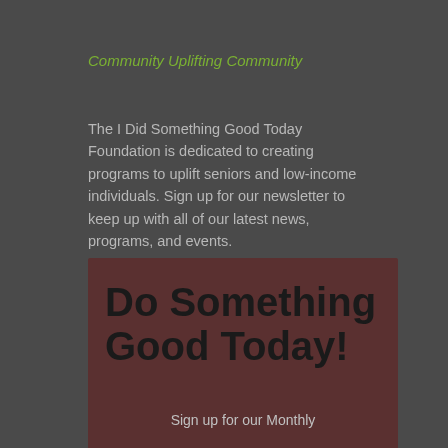Community Uplifting Community
The I Did Something Good Today Foundation is dedicated to creating programs to uplift seniors and low-income individuals. Sign up for our newsletter to keep up with all of our latest news, programs, and events.
Do Something Good Today!
Sign up for our Monthly